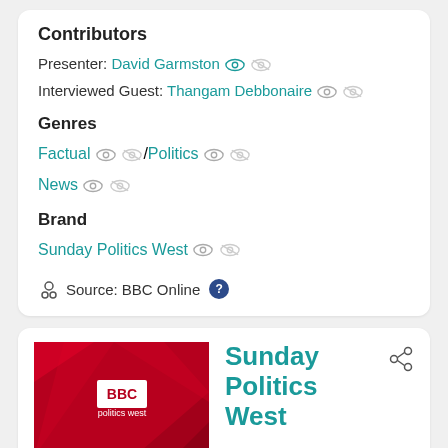Contributors
Presenter: David Garmston
Interviewed Guest: Thangam Debbonaire
Genres
Factual / Politics
News
Brand
Sunday Politics West
Source: BBC Online
[Figure (screenshot): BBC Politics West logo image with red geometric background and BBC branding text 'politics west']
Sunday Politics West